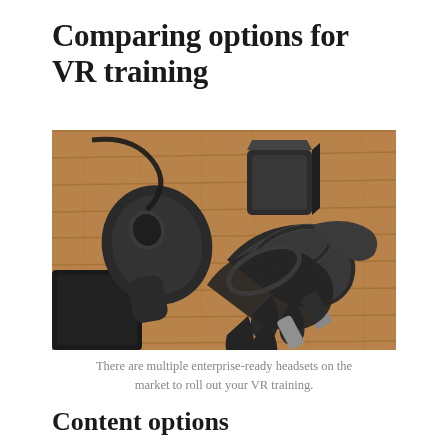Comparing options for VR training
[Figure (photo): VR hardware accessories including motion controllers, a sensor box, and a VR headset laid out on a wooden floor surface.]
There are multiple enterprise-ready headsets on the market to roll out your VR training.
Content options